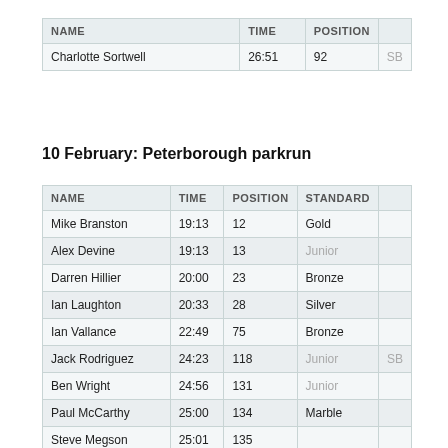| NAME | TIME | POSITION |  |
| --- | --- | --- | --- |
| Charlotte Sortwell | 26:51 | 92 | SB |
10 February: Peterborough parkrun
| NAME | TIME | POSITION | STANDARD |  |
| --- | --- | --- | --- | --- |
| Mike Branston | 19:13 | 12 | Gold |  |
| Alex Devine | 19:13 | 13 | Junior |  |
| Darren Hillier | 20:00 | 23 | Bronze |  |
| Ian Laughton | 20:33 | 28 | Silver |  |
| Ian Vallance | 22:49 | 75 | Bronze |  |
| Jack Rodriguez | 24:23 | 118 | Junior | SB |
| Ben Wright | 24:56 | 131 | Junior |  |
| Paul McCarthy | 25:00 | 134 | Marble |  |
| Steve Megson | 25:01 | 135 |  |  |
| Abigail Branston | 25:24 | 150 | Junior |  |